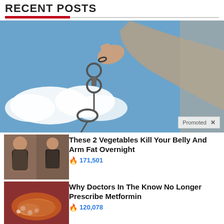RECENT POSTS
[Figure (photo): A person in a grey hoodie holding up handcuffs against a blue sky with clouds background.]
[Figure (photo): Before and after weight loss photos showing women's backs wearing black bikini tops.]
These 2 Vegetables Kill Your Belly And Arm Fat Overnight
🔥 171,501
[Figure (photo): Medical image of a pancreas or digestive organ.]
Why Doctors In The Know No Longer Prescribe Metformin
🔥 120,078